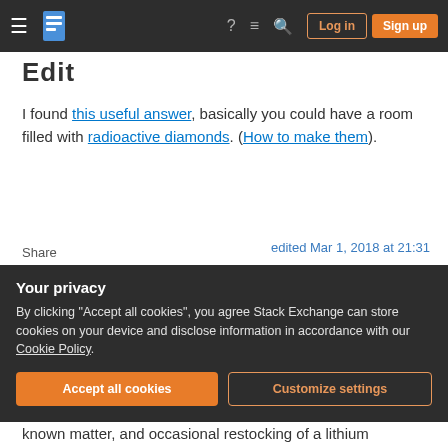Stack Exchange navigation bar with Log in and Sign up buttons
Edit
I found this useful answer, basically you could have a room filled with radioactive diamonds. (How to make them).
Share
Improve this answer
Follow
edited Mar 1, 2018 at 21:31
answered Jun 4, 2017 at 3:52
Ender Look
8,763 ● 2 ● 26 ● 59
Your privacy
By clicking "Accept all cookies", you agree Stack Exchange can store cookies on your device and disclose information in accordance with our Cookie Policy.
known matter, and occasional restocking of a lithium